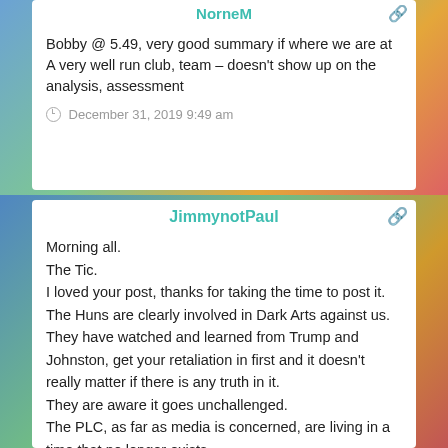NorneM
Bobby @ 5.49, very good summary if where we are at
A very well run club, team – doesn't show up on the analysis, assessment
December 31, 2019 9:49 am
JimmynotPaul
Morning all.
The Tic.
I loved your post, thanks for taking the time to post it.
The Huns are clearly involved in Dark Arts against us.
They have watched and learned from Trump and Johnston, get your retaliation in first and it doesn't really matter if there is any truth in it.
They are aware it goes unchallenged.
The PLC, as far as media is concerned, are living in a time that no longer exists.
They are reactive, rather than proactive.